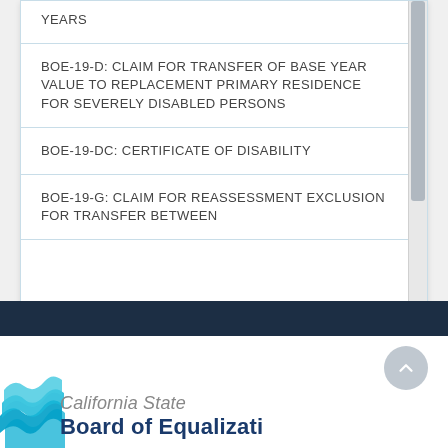YEARS
BOE-19-D: CLAIM FOR TRANSFER OF BASE YEAR VALUE TO REPLACEMENT PRIMARY RESIDENCE FOR SEVERELY DISABLED PERSONS
BOE-19-DC: CERTIFICATE OF DISABILITY
BOE-19-G: CLAIM FOR REASSESSMENT EXCLUSION FOR TRANSFER BETWEEN
[Figure (logo): California State Board of Equalization logo with teal wave icon]
California State Board of Equalization